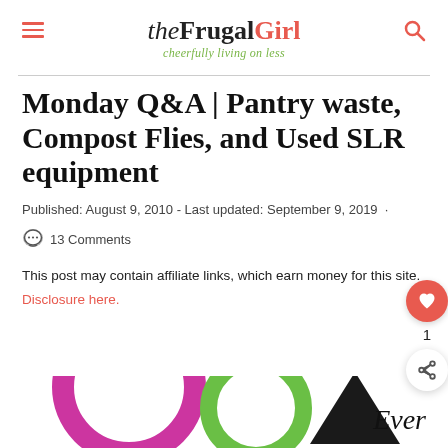the Frugal Girl — cheerfully living on less
Monday Q&A | Pantry waste, Compost Flies, and Used SLR equipment
Published: August 9, 2010 - Last updated: September 9, 2019
13 Comments
This post may contain affiliate links, which earn money for this site.
Disclosure here.
[Figure (illustration): Bottom strip with a magenta ring, green ring, black triangle shape, and italic text 'Ever']